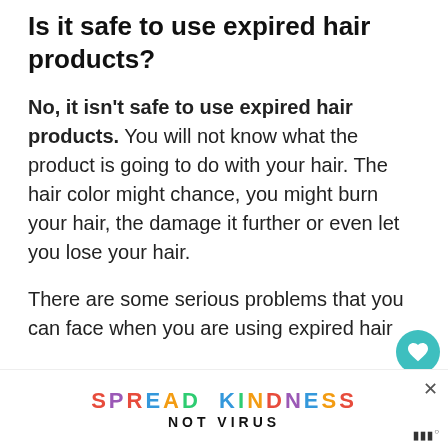Is it safe to use expired hair products?
No, it isn't safe to use expired hair products. You will not know what the product is going to do with your hair. The hair color might chance, you might burn your hair, the damage it further or even let you lose your hair.
There are some serious problems that you can face when you are using expired hair p... hair
[Figure (other): Ad banner: SPREAD KINDNESS NOT VIRUS with colorful letters, close button X, and Millsberry logo]